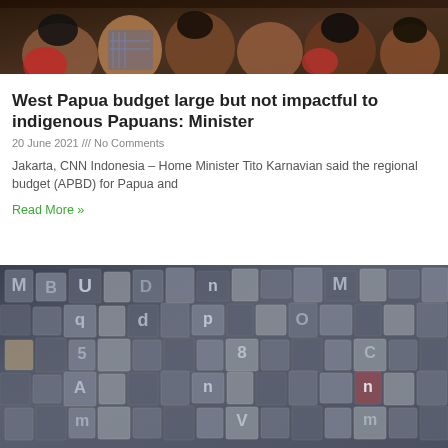[Figure (photo): Group of people gathered together, dark indoor scene with colorful clothing]
West Papua budget large but not impactful to indigenous Papuans: Minister
20 June 2021 /// No Comments
Jakarta, CNN Indonesia – Home Minister Tito Karnavian said the regional budget (APBD) for Papua and
Read More »
[Figure (photo): Pile of vintage wooden letterpress type blocks in various letters and sizes, blue-grey tones]